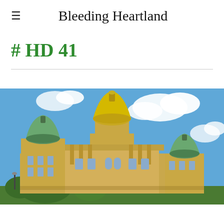≡  Bleeding Heartland
# HD 41
[Figure (photo): Photograph of the Iowa State Capitol building with its gold dome in the center, a green copper dome on the left side, another smaller green dome on the right, set against a blue sky with clouds and green trees in the foreground.]